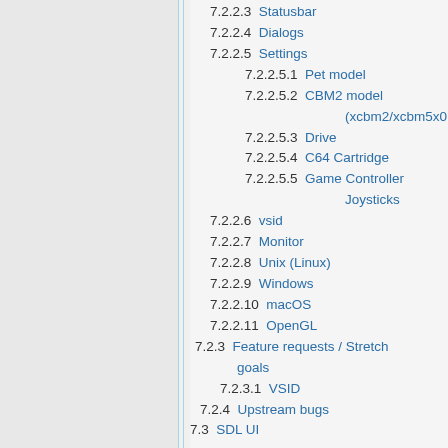7.2.2.3 Statusbar
7.2.2.4 Dialogs
7.2.2.5 Settings
7.2.2.5.1 Pet model
7.2.2.5.2 CBM2 model (xcbm2/xcbm5x0)
7.2.2.5.3 Drive
7.2.2.5.4 C64 Cartridge
7.2.2.5.5 Game Controller Joysticks
7.2.2.6 vsid
7.2.2.7 Monitor
7.2.2.8 Unix (Linux)
7.2.2.9 Windows
7.2.2.10 macOS
7.2.2.11 OpenGL
7.2.3 Feature requests / Stretch goals
7.2.3.1 VSID
7.2.4 Upstream bugs
7.3 SDL UI